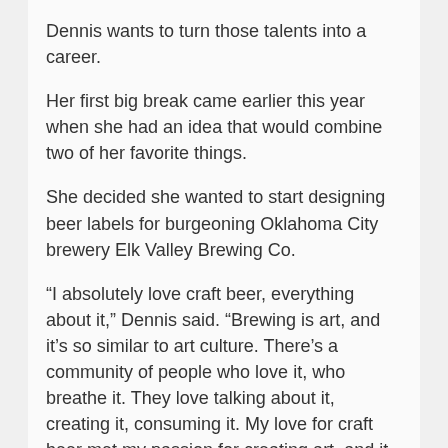Dennis wants to turn those talents into a career.
Her first big break came earlier this year when she had an idea that would combine two of her favorite things.
She decided she wanted to start designing beer labels for burgeoning Oklahoma City brewery Elk Valley Brewing Co.
“I absolutely love craft beer, everything about it,” Dennis said. “Brewing is art, and it’s so similar to art culture. There’s a community of people who love it, who breathe it. They love talking about it, creating it, consuming it. My love for craft beer met my passion for creating art, and it was harmony. It’s a perfect situation for me.”
Elk Valley is owned by John Elkins, a Midwest City native.
He started the brewery in 2013 and moved all of his